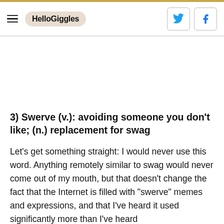HelloGiggles
3) Swerve (v.): avoiding someone you don't like; (n.) replacement for swag
Let's get something straight: I would never use this word. Anything remotely similar to swag would never come out of my mouth, but that doesn't change the fact that the Internet is filled with “swerve” memes and expressions, and that I’ve heard it used significantly more than I’ve heard